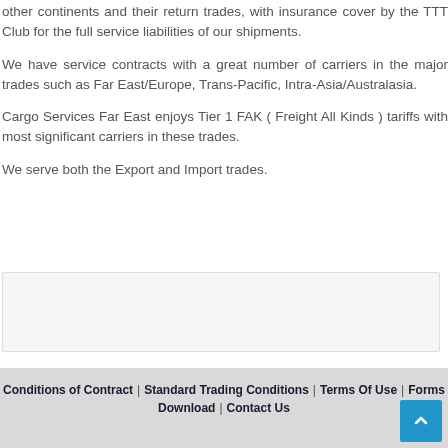other continents and their return trades, with insurance cover by the TTT Club for the full service liabilities of our shipments.
We have service contracts with a great number of carriers in the major trades such as Far East/Europe, Trans-Pacific, Intra-Asia/Australasia.
Cargo Services Far East enjoys Tier 1 FAK ( Freight All Kinds ) tariffs with most significant carriers in these trades.
We serve both the Export and Import trades.
[Figure (other): Light gray search/input box area]
Conditions of Contract | Standard Trading Conditions | Terms Of Use | Forms Download | Contact Us